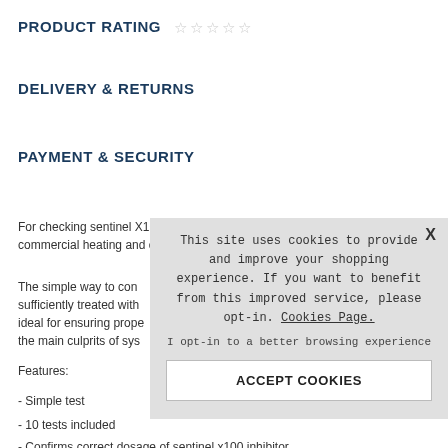PRODUCT RATING ☆ ☆ ☆ ☆ ☆
DELIVERY & RETURNS
PAYMENT & SECURITY
For checking sentinel X100 inhibitor levels in commercial heating and cooling systems.
The simple way to con... sufficiently treated with... ideal for ensuring prope... the main culprits of sys...
Features:
- Simple test
- 10 tests included
- Confirms correct dosage of sentinel x100 inhibitor
This site uses cookies to provide and improve your shopping experience. If you want to benefit from this improved service, please opt-in. Cookies Page.
I opt-in to a better browsing experience
ACCEPT COOKIES